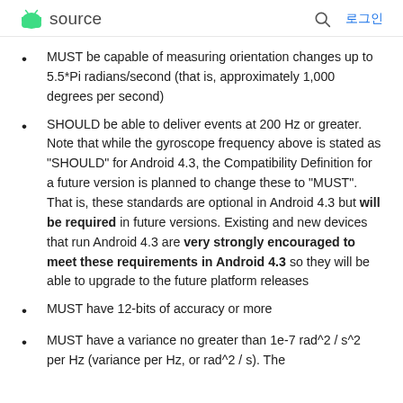source | 로그인
MUST be capable of measuring orientation changes up to 5.5*Pi radians/second (that is, approximately 1,000 degrees per second)
SHOULD be able to deliver events at 200 Hz or greater. Note that while the gyroscope frequency above is stated as "SHOULD" for Android 4.3, the Compatibility Definition for a future version is planned to change these to "MUST". That is, these standards are optional in Android 4.3 but will be required in future versions. Existing and new devices that run Android 4.3 are very strongly encouraged to meet these requirements in Android 4.3 so they will be able to upgrade to the future platform releases
MUST have 12-bits of accuracy or more
MUST have a variance no greater than 1e-7 rad^2 / s^2 per Hz (variance per Hz, or rad^2 / s). The